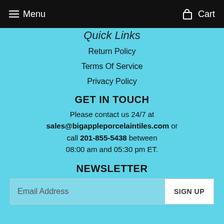Menu  Cart
Quick Links
Return Policy
Terms Of Service
Privacy Policy
GET IN TOUCH
Please contact us 24/7 at sales@bigappleporcelaintiles.com or call 201-855-5438 between 08:00 am and 05:30 pm ET.
NEWSLETTER
Email Address  SIGN UP